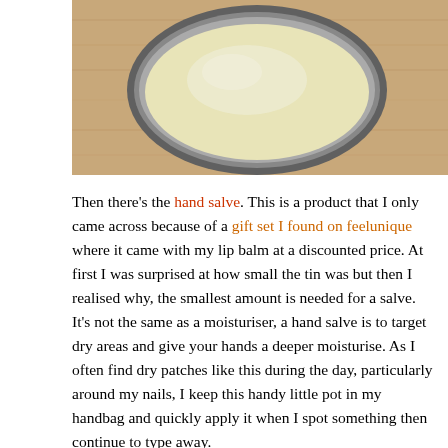[Figure (photo): Top-down photo of an open circular tin/pot of hand salve with a pale yellowish-cream colored balm inside, sitting on a wooden surface.]
Then there's the hand salve. This is a product that I only came across because of a gift set I found on feelunique where it came with my lip balm at a discounted price. At first I was surprised at how small the tin was but then I realised why, the smallest amount is needed for a salve. It's not the same as a moisturiser, a hand salve is to target dry areas and give your hands a deeper moisturise. As I often find dry patches like this during the day, particularly around my nails, I keep this handy little pot in my handbag and quickly apply it when I spot something then continue to type away.
If you have a reason why you like these two products or can recommend any other Burt's Bees products it would